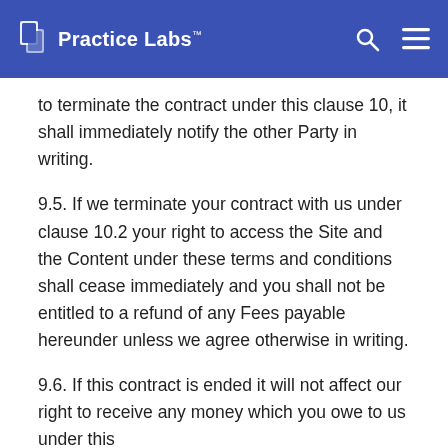Practice Labs™
to terminate the contract under this clause 10, it shall immediately notify the other Party in writing.
9.5. If we terminate your contract with us under clause 10.2 your right to access the Site and the Content under these terms and conditions shall cease immediately and you shall not be entitled to a refund of any Fees payable hereunder unless we agree otherwise in writing.
9.6. If this contract is ended it will not affect our right to receive any money which you owe to us under this